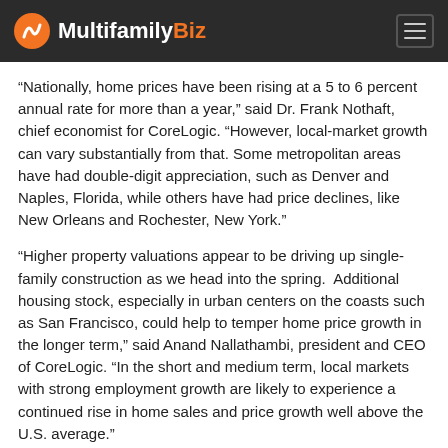MultifamilyBiz
“Nationally, home prices have been rising at a 5 to 6 percent annual rate for more than a year,” said Dr. Frank Nothaft, chief economist for CoreLogic. “However, local-market growth can vary substantially from that. Some metropolitan areas have had double-digit appreciation, such as Denver and Naples, Florida, while others have had price declines, like New Orleans and Rochester, New York.”
“Higher property valuations appear to be driving up single-family construction as we head into the spring.  Additional housing stock, especially in urban centers on the coasts such as San Francisco, could help to temper home price growth in the longer term,” said Anand Nallathambi, president and CEO of CoreLogic. “In the short and medium term, local markets with strong employment growth are likely to experience a continued rise in home sales and price growth well above the U.S. average.”
SOURCE: CORELOGIC / #HOUSING #ECONOMY